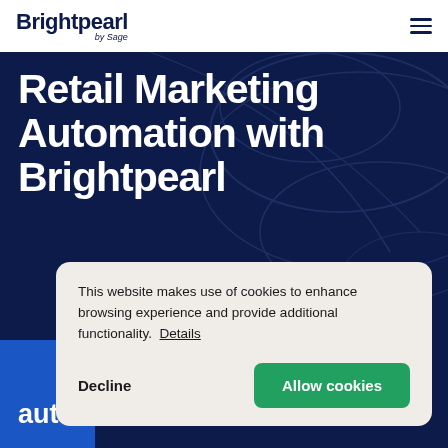Brightpearl by Sage
Retail Marketing Automation with Brightpearl
This website makes use of cookies to enhance browsing experience and provide additional functionality. Details
Decline
Allow cookies
automation with